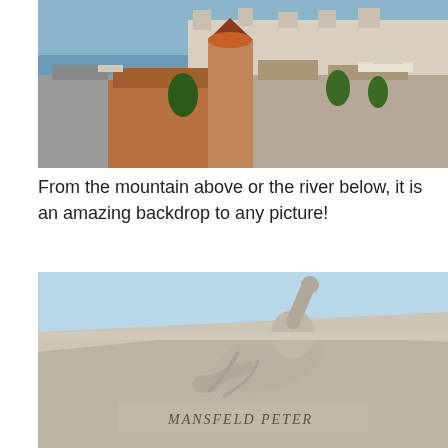[Figure (photo): Aerial view of Budapest cityscape with terracotta rooftops, a church tower with ornate tiling, and the Danube River with Parliament building in the background. A boat is visible on the river.]
From the mountain above or the river below, it is an amazing backdrop to any picture!
[Figure (photo): Close-up of a stone sculpture of a figure crawling or reaching forward on top of a stone monument or wall. The inscription 'MANSFELD PETER' is carved into the stone base. Blue sky in background.]